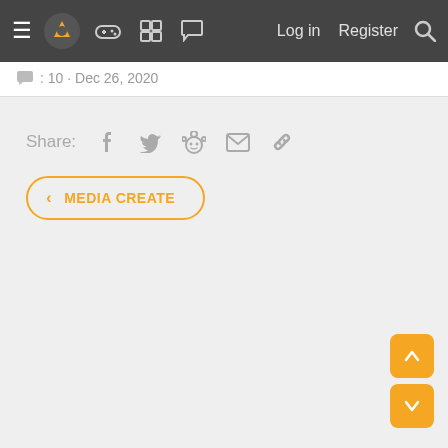Navigation bar with hamburger menu, logo, game controller icon, grid icon, chat icon, Log in, Register, Search
: 10 · Dec 26, 2020
Share:
MEDIA CREATE